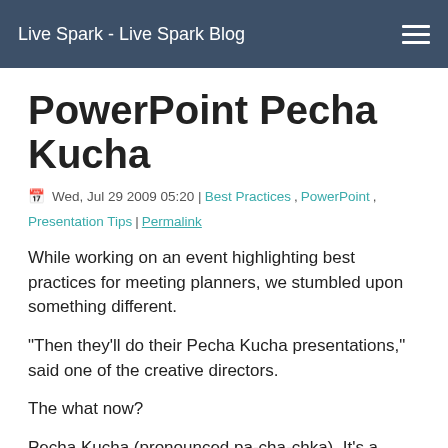Live Spark - Live Spark Blog
PowerPoint Pecha Kucha
Wed, Jul 29 2009 05:20 | Best Practices, PowerPoint, Presentation Tips | Permalink
While working on an event highlighting best practices for meeting planners, we stumbled upon something different.
"Then they'll do their Pecha Kucha presentations," said one of the creative directors.
The what now?
Pecha Kucha (pronounced pa-cha-chka). It's a presentation format developed by Japanese architects who wanted to show off their work, but who were sick of the same old death-by-PowerPoint presentations.